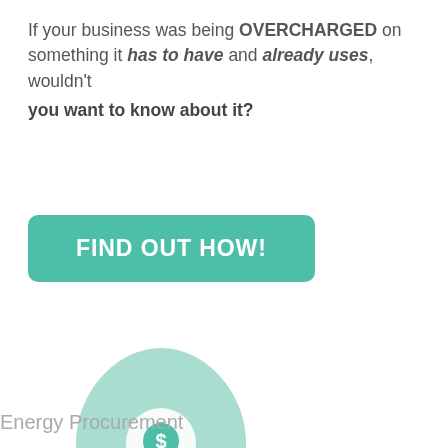If your business was being OVERCHARGED on something it has to have and already uses, wouldn't you want to know about it?
[Figure (illustration): Green rounded rectangle button with white bold text reading FIND OUT HOW!]
[Figure (illustration): Light teal teardrop/leaf shape containing a white lightbulb icon with a dollar sign inside the bulb]
Energy Procurement